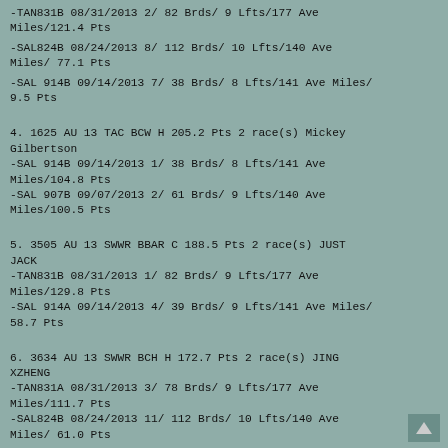-TAN831B 08/31/2013 2/ 82 Brds/ 9 Lfts/177 Ave Miles/121.4 Pts
-SAL824B 08/24/2013 8/ 112 Brds/ 10 Lfts/140 Ave Miles/ 77.1 Pts
-SAL 914B 09/14/2013 7/ 38 Brds/ 8 Lfts/141 Ave Miles/ 9.5 Pts
4. 1625 AU 13 TAC BCW H 205.2 Pts 2 race(s) Mickey Gilbertson
-SAL 914B 09/14/2013 1/ 38 Brds/ 8 Lfts/141 Ave Miles/104.8 Pts
-SAL 907B 09/07/2013 2/ 61 Brds/ 9 Lfts/140 Ave Miles/100.5 Pts
5. 3505 AU 13 SWWR BBAR C 188.5 Pts 2 race(s) JUST JACK
-TAN831B 08/31/2013 1/ 82 Brds/ 9 Lfts/177 Ave Miles/129.8 Pts
-SAL 914A 09/14/2013 4/ 39 Brds/ 9 Lfts/141 Ave Miles/ 58.7 Pts
6. 3634 AU 13 SWWR BCH H 172.7 Pts 2 race(s) JING XZHENG
-TAN831A 08/31/2013 3/ 78 Brds/ 9 Lfts/177 Ave Miles/111.7 Pts
-SAL824B 08/24/2013 11/ 112 Brds/ 10 Lfts/140 Ave Miles/ 61.0 Pts
7. 370 AU 13 PSF BBAR H 164.5 Pts 2 race(s) JING XZHENG
-TAN831B 09/31/2013 5/ 82 Brds/ 9 Lfts/177 Ave Miles/